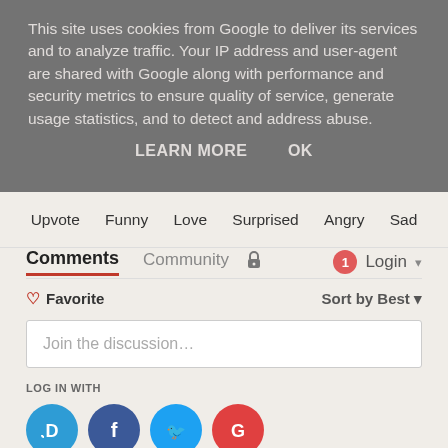This site uses cookies from Google to deliver its services and to analyze traffic. Your IP address and user-agent are shared with Google along with performance and security metrics to ensure quality of service, generate usage statistics, and to detect and address abuse.
LEARN MORE    OK
Upvote  Funny  Love  Surprised  Angry  Sad
Comments  Community  Login
♡ Favorite
Sort by Best
Join the discussion…
LOG IN WITH
OR SIGN UP WITH DISQUS ?